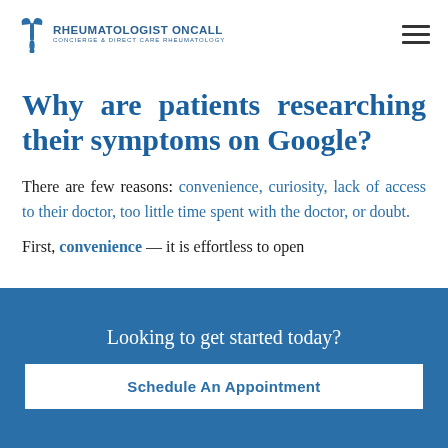RHEUMATOLOGIST ONCALL — CONCIERGE & DIRECT CARE RHEUMATOLOGY
Why are patients researching their symptoms on Google?
There are few reasons: convenience, curiosity, lack of access to their doctor, too little time spent with the doctor, or doubt.
First, convenience — it is effortless to open
Looking to get started today?
Schedule An Appointment